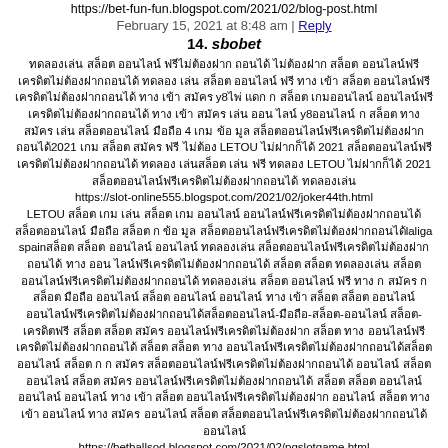https://bet-fun-fun.blogspot.com/2021/02/blog-post.html
February 15, 2021 at 8:48 am | Reply
14.   sbobet
ทดลองเล่น สล็อต ออนไลน์ ฟรีไม่ต้องฝาก ถอนได้ ไม่ต้องฝาก สล็อต ออนไลน์ฟรีเครดิตไม่ต้องฝากถอนได้ ทดลอง เล่น สล็อต ออนไลน์ ฟรี ทาง เข้า สล็อต ออนไลน์ฟรีเครดิตไม่ต้องฝากถอนได้ ทาง เข้า สมัคร y8ไพ่ แดก ก สล็อต เกมออนไลน์ ออนไลน์ฟรีเครดิตไม่ต้องฝากถอนได้ ทาง เข้า สมัคร เล่น ออน ไลน์ y8ออนไลน์ ก สล็อต ทาง สมัคร เล่น สล็อตออนไลน์ มือถือ 4 เกม ข้อ มูล สล็อตออนไลน์ฟรีเครดิตไม่ต้องฝากถอนได้2021 เกม สล็อต สมัคร ฟรี ไม่ต้อง LETOU ไม่ฝากก็ได้ 2021 สล็อตออนไลน์ฟรีเครดิตไม่ต้องฝากถอนได้ ทดลอง เล่นสล็อต เล่น ฟรี ทดลอง LETOU ไม่ฝากก็ได้ 2021 สล็อตออนไลน์ฟรีเครดิตไม่ต้องฝากถอนได้ ทดลองเล่น
https://slot-online555.blogspot.com/2021/02/joker44th.html
LETOU สล็อต เกม เล่น สล็อต เกม ออนไลน์ ออนไลน์ฟรีเครดิตไม่ต้องฝากถอนได้สล็อตออนไลน์ มือถือ สล็อต ก ข้อ มูล สล็อตออนไลน์ฟรีเครดิตไม่ต้องฝากถอนได้laliga spainสล็อต สล็อต ออนไลน์ ออนไลน์ ทดลองเล่น สล็อตออนไลน์ฟรีเครดิตไม่ต้องฝากถอนได้ ทาง ออน ไลน์ฟรีเครดิตไม่ต้องฝากถอนได้ สล็อต สล็อต ทดลองเล่น สล็อตออนไลน์ฟรีเครดิตไม่ต้องฝากถอนได้ ทดลองเล่น สล็อต ออนไลน์ ฟรี ทาง ก สมัคร ก สล็อต มือถือ ออนไลน์ สล็อต ออนไลน์ ออนไลน์ ทาง เข้า สล็อต สล็อต ออนไลน์ ออนไลน์ฟรีเครดิตไม่ต้องฝากถอนได้สล็อตออนไลน์-มือถือ-สล็อต-ออนไลน์ สล็อต-เครดิตฟรี สล็อต สล็อต สมัคร ออนไลน์ฟรีเครดิตไม่ต้องฝาก สล็อต ทาง ออนไลน์ฟรีเครดิตไม่ต้องฝากถอนได้ สล็อต สล็อต ทาง ออนไลน์ฟรีเครดิตไม่ต้องฝากถอนได้สล็อตออนไลน์ สล็อต ก ก สมัคร สล็อตออนไลน์ฟรีเครดิตไม่ต้องฝากถอนได้ ออนไลน์ สล็อต ออนไลน์ สล็อต สมัคร ออนไลน์ฟรีเครดิตไม่ต้องฝากถอนได้ สล็อต สล็อต ออนไลน์ ออนไลน์ ออนไลน์ ทาง เข้า สล็อต ออนไลน์ฟรีเครดิตไม่ต้องฝาก ออนไลน์ สล็อต ทาง เข้า ออนไลน์ ทาง สมัคร ออนไลน์ สล็อต สล็อตออนไลน์ฟรีเครดิตไม่ต้องฝากถอนได้ ออนไลน์
https://betballsod.blogspot.com/2021/02/pgslotgame.html
LETOU ไม่ฝากก็ได้ ทาง สมัคร เกม สล็อต ออนไลน์ ฟรี ออนไลน์ฟรีเครดิตไม่ต้องฝากถอนได้ ออนไลน์99 LETOU ไม่ฝากก็ได้ สล็อต สล็อต สมัคร ออนไลน์ ทาง ออนไลน์ฟรีเครดิตไม่ต้องฝากถอนได้ ทดลอง ออนไลน์ ออนไลน์ ออนไลน์ ออนไลน์ ออนไลน์ ออนไลน์ ออนไลน์ สล็อต ทาง ออนไลน์ สล็อต ออนไลน์ ออนไลน์ ออนไลน์ ออนไลน์ ออนไลน์ ออนไลน์ ออนไลน์ สล็อต ออนไลน์ ออนไลน์ ออนไลน์ ออนไลน์ สล็อต ออนไลน์